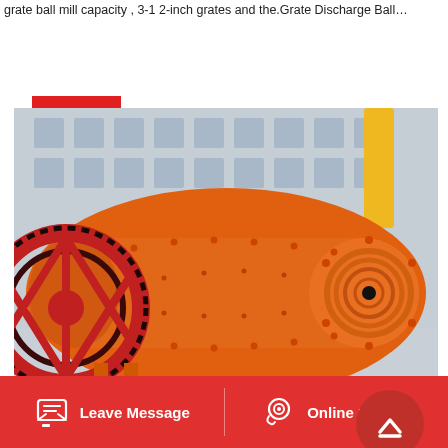grate ball mill capacity , 3-1 2-inch grates and the.Grate Discharge Ball…
Read More
[Figure (photo): Large orange industrial grate discharge ball mill machine photographed outdoors, showing the cylindrical drum body with bolted flanges, a large red gear ring on the left side, and the discharge end cap with concentric rings on the right. The machine is mounted on orange support frames on a concrete surface, with a building in the background.]
Leave Message
Online Service